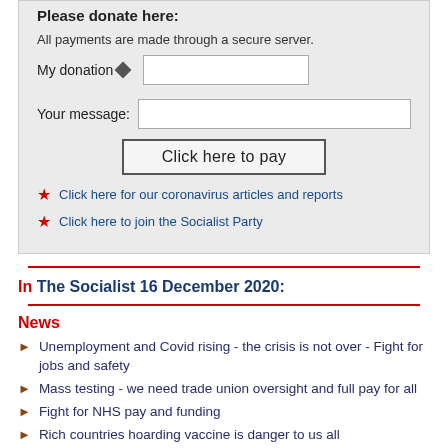Please donate here:
All payments are made through a secure server.
My donation ◆ [input field]
Your message: [input field]
Click here to pay
Click here for our coronavirus articles and reports
Click here to join the Socialist Party
In The Socialist 16 December 2020:
News
Unemployment and Covid rising - the crisis is not over - Fight for jobs and safety
Mass testing - we need trade union oversight and full pay for all
Fight for NHS pay and funding
Rich countries hoarding vaccine is danger to us all
No to Tories' new anti-protest law